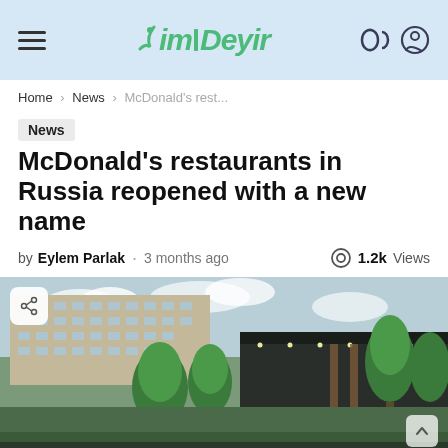KimDeyir - site header with logo, hamburger menu, and user icons
Home › News › McDonald's rest...
News
McDonald's restaurants in Russia reopened with a new name
by Eylem Parlak · 3 months ago · 1.2k Views
[Figure (photo): Exterior photo of a McDonald's restaurant in Russia with a dark modern facade, trees in front, and a Soviet-era apartment block in the background under a cloudy sky.]